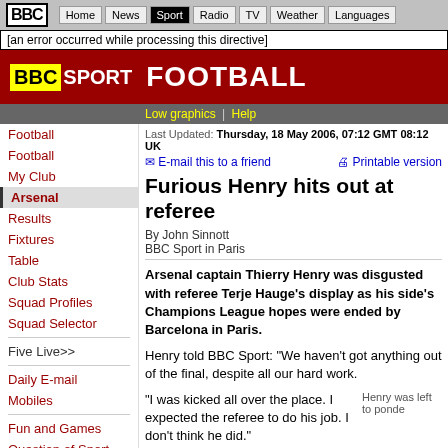BBC | Home | News | Sport | Radio | TV | Weather | Languages
[an error occurred while processing this directive]
[Figure (logo): BBC Sport Football header with yellow BBC box logo and white text on dark red background]
Low graphics | Help
Last Updated: Thursday, 18 May 2006, 07:12 GMT 08:12 UK
E-mail this to a friend | Printable version
Furious Henry hits out at referee
By John Sinnott
BBC Sport in Paris
Arsenal captain Thierry Henry was disgusted with referee Terje Hauge's display as his side's Champions League hopes were ended by Barcelona in Paris.
Henry told BBC Sport: "We haven't got anything out of the final, despite all our hard work.
"I was kicked all over the place. I expected the referee to do his job. I don't think he did."
Henry was left to ponde
Henry also reacted angrily when asked about his future
Football
Football
My Club
Arsenal
Results
Fixtures
Table
Club Stats
Squad Profiles
Squad Selector
Five Live>>
Daily E-mail
Mobiles
Fun and Games
Question of Sport
CHOOSE A SPORT
Select